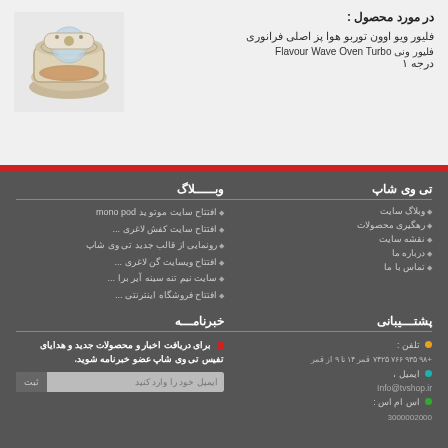در مورد محصول :
فلیور ویو اوون توربو هوا پز اصلی فرانوری
Flavour Wave Oven Turbo فلیور ونی
درجه ۱
تی وی شاپ
وبلاگ سایت
رهگیری محصولات
نقشه سایت
درباره ما
تماس با ما
وبـــــلاگ
افتتاح سایت موتو ید mono pod
افتتاح سایت کفش لاغری ...
رونمایی از قالب جدید تی وی شاپ
افتتاح ویسایت گن لاغری ...
سایت نیم تنه سینه آیر برا ...
افتتاح فروشگاه اینترنتی ...
پشتـــیبانی
تلفن : از ۹ تا ۱۴ قمر +۹۸ ۹۳۵ ۷۶۶ ۷۴۲۵ قمر
ایمیل : Info@tvshop.ir
اس ام اس : ۳۰۰۰۰۲۰۰۰
خبرنامـــه
برای دریافت اخبار و محصولات جدید و هدایای تفیس تی وی شاپ عضو خبرنامه شوید.